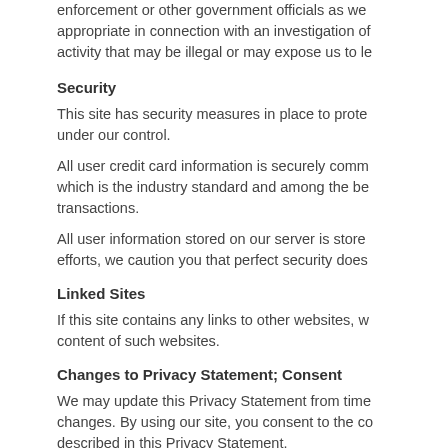enforcement or other government officials as we deem appropriate in connection with an investigation of activity that may be illegal or may expose us to le
Security
This site has security measures in place to protect under our control.
All user credit card information is securely comm which is the industry standard and among the bes transactions.
All user information stored on our server is stored efforts, we caution you that perfect security does
Linked Sites
If this site contains any links to other websites, we content of such websites.
Changes to Privacy Statement; Consent
We may update this Privacy Statement from time changes. By using our site, you consent to the co described in this Privacy Statement.
Questions and Comments
We welcome your questions and comments abou Customer Service 24 hours a day.